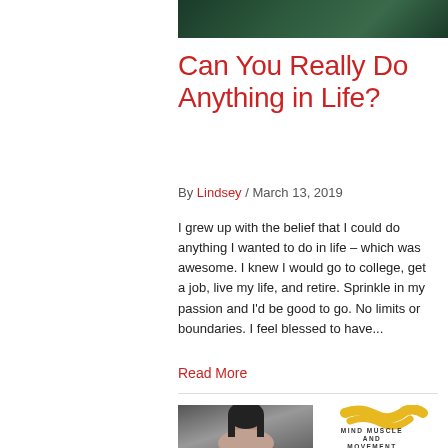[Figure (photo): Partial dark green/teal background image cropped at top of page]
Can You Really Do Anything in Life?
By Lindsey / March 13, 2019
I grew up with the belief that I could do anything I wanted to do in life – which was awesome. I knew I would go to college, get a job, live my life, and retire. Sprinkle in my passion and I'd be good to go. No limits or boundaries. I feel blessed to have...
Read More
[Figure (photo): Headshot of a woman with dark hair against a gray background, and a Mind Muscle and Movement podcast logo with yellow brush stroke graphic]